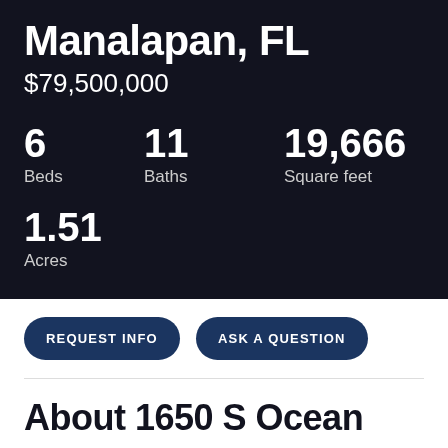Manalapan, FL
$79,500,000
6 Beds
11 Baths
19,666 Square feet
1.51 Acres
REQUEST INFO
ASK A QUESTION
About 1650 S Ocean